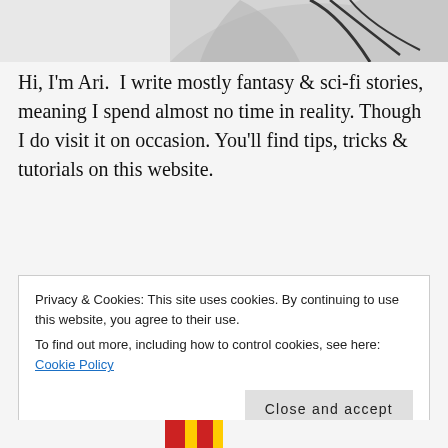[Figure (illustration): Partial view of an illustrated character with dark hair, cropped at top of page]
Hi, I'm Ari.  I write mostly fantasy & sci-fi stories, meaning I spend almost no time in reality. Though I do visit it on occasion. You'll find tips, tricks & tutorials on this website.
[Figure (illustration): Circle/oval decorative element with a hand/feather illustration, overlaid with mailing list call-to-action text: 'Want more content? Click here to Join my mailing list']
Privacy & Cookies: This site uses cookies. By continuing to use this website, you agree to their use.
To find out more, including how to control cookies, see here: Cookie Policy
Close and accept
[Figure (illustration): Partial view of a colorful illustrated element at the bottom of the page]